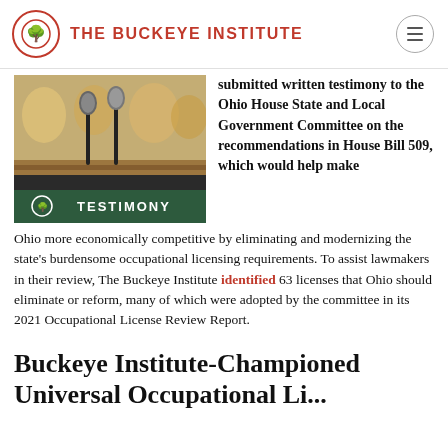THE BUCKEYE INSTITUTE
[Figure (photo): Photo of two microphones at a hearing table with people blurred in background, overlaid with a green banner reading TESTIMONY and the Buckeye Institute logo]
submitted written testimony to the Ohio House State and Local Government Committee on the recommendations in House Bill 509, which would help make Ohio more economically competitive by eliminating and modernizing the state's burdensome occupational licensing requirements. To assist lawmakers in their review, The Buckeye Institute identified 63 licenses that Ohio should eliminate or reform, many of which were adopted by the committee in its 2021 Occupational License Review Report.
Buckeye Institute-Championed Universal Occupational Li...